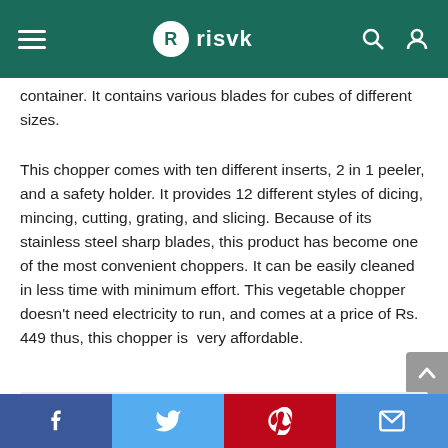risvk
container. It contains various blades for cubes of different sizes.
This chopper comes with ten different inserts, 2 in 1 peeler, and a safety holder. It provides 12 different styles of dicing, mincing, cutting, grating, and slicing. Because of its stainless steel sharp blades, this product has become one of the most convenient choppers. It can be easily cleaned in less time with minimum effort. This vegetable chopper doesn't need electricity to run, and comes at a price of Rs. 449 thus, this chopper is  very affordable.
Facebook | Twitter | Pinterest | Email